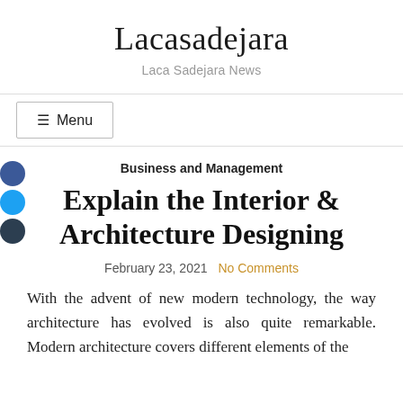Lacasadejara
Laca Sadejara News
☰ Menu
Business and Management
Explain the Interior & Architecture Designing
February 23, 2021   No Comments
With the advent of new modern technology, the way architecture has evolved is also quite remarkable. Modern architecture covers different elements of the